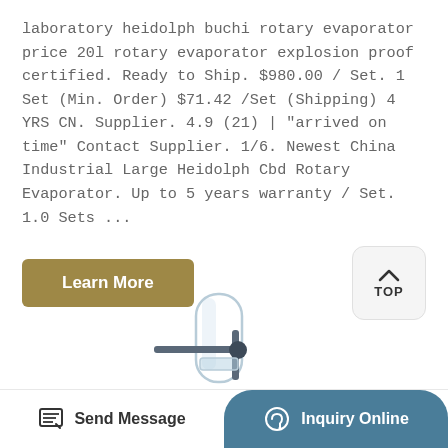laboratory heidolph buchi rotary evaporator price 20l rotary evaporator explosion proof certified. Ready to Ship. $980.00 / Set. 1 Set (Min. Order) $71.42 /Set (Shipping) 4 YRS CN. Supplier. 4.9 (21) | "arrived on time" Contact Supplier. 1/6. Newest China Industrial Large Heidolph Cbd Rotary Evaporator. Up to 5 years warranty / Set. 1.0 Sets ...
[Figure (other): Learn More button (gold/tan background, white text)]
[Figure (other): TOP button (light gray rounded rectangle with upward caret icon and TOP label)]
[Figure (photo): Product photo of a laboratory rotary evaporator glassware component — a cylindrical glass flask with a metal connector/clamp assembly attached, shown partially cropped at bottom of page]
[Figure (other): Bottom navigation bar with 'Send Message' button (white background, pencil icon) on left and 'Inquiry Online' button (teal/blue-gray rounded background, headset icon) on right]